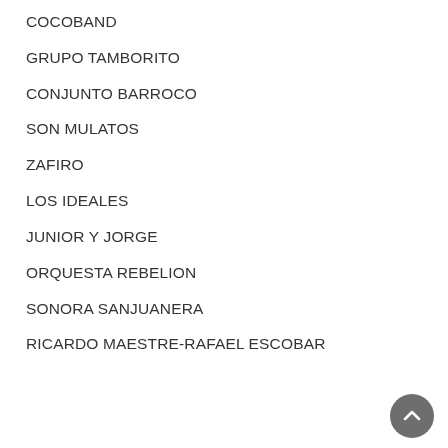COCOBAND
GRUPO TAMBORITO
CONJUNTO BARROCO
SON MULATOS
ZAFIRO
LOS IDEALES
JUNIOR Y JORGE
ORQUESTA REBELION
SONORA SANJUANERA
RICARDO MAESTRE-RAFAEL ESCOBAR